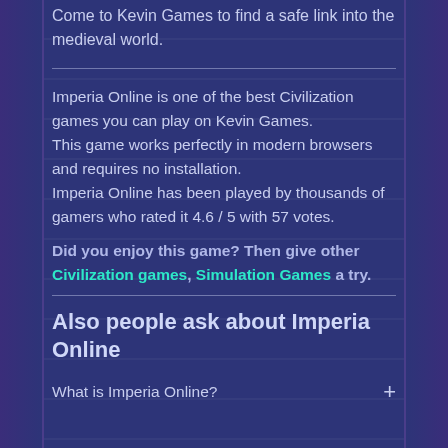Come to Kevin Games to find a safe link into the medieval world.
Imperia Online is one of the best Civilization games you can play on Kevin Games. This game works perfectly in modern browsers and requires no installation. Imperia Online has been played by thousands of gamers who rated it 4.6 / 5 with 57 votes.
Did you enjoy this game? Then give other Civilization games, Simulation Games a try.
Also people ask about Imperia Online
What is Imperia Online?